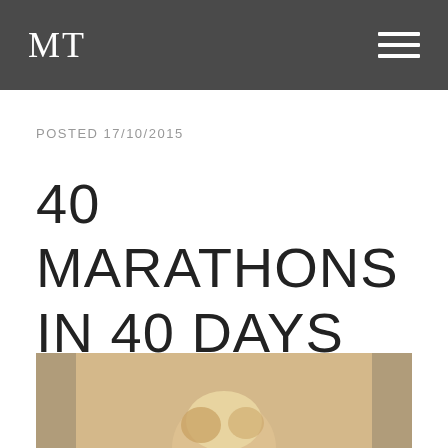MT
POSTED 17/10/2015
40 MARATHONS IN 40 DAYS
[Figure (photo): Partial photo of a person (head visible) standing outdoors with stone/brick wall background]